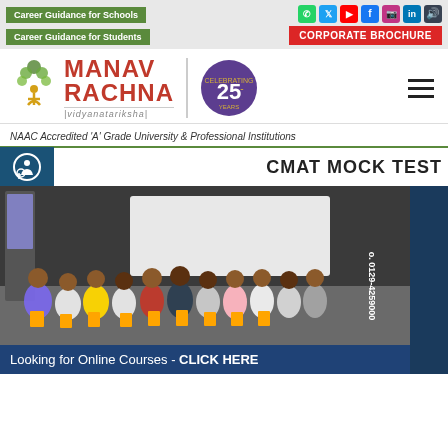Career Guidance for Schools | Career Guidance for Students | Social icons | CORPORATE BROCHURE
[Figure (logo): Manav Rachna Vidyanatariksha logo with tree icon and 25th anniversary badge]
NAAC Accredited 'A' Grade University & Professional Institutions
CMAT MOCK TEST
[Figure (photo): Group photo of people standing in a conference room holding certificates/brochures]
Looking for Online Courses - CLICK HERE
0129-4259000